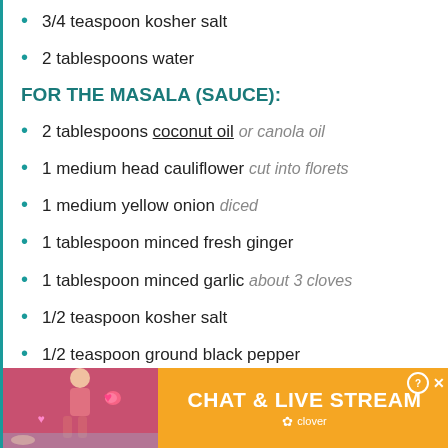3/4 teaspoon kosher salt
2 tablespoons water
FOR THE MASALA (SAUCE):
2 tablespoons coconut oil or canola oil
1 medium head cauliflower cut into florets
1 medium yellow onion diced
1 tablespoon minced fresh ginger
1 tablespoon minced garlic about 3 cloves
1/2 teaspoon kosher salt
1/2 teaspoon ground black pepper
2 tablespoons tomato paste
1 1/2 teaspoons garam masala
[Figure (other): Advertisement banner: Chat & Live Stream by Clover, showing a woman on a beach with heart emojis on an orange background.]